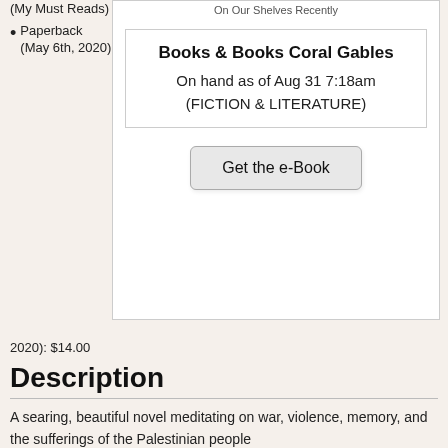On Our Shelves Recently
(My Must Reads)
Paperback (May 6th, 2020): $14.00
Books & Books Coral Gables
On hand as of Aug 31 7:18am
(FICTION & LITERATURE)
Get the e-Book
Description
A searing, beautiful novel meditating on war, violence, memory, and the sufferings of the Palestinian people